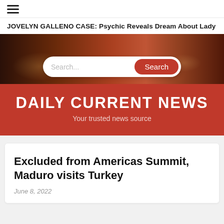☰ (hamburger menu icon)
JOVELYN GALLENO CASE: Psychic Reveals Dream About Lady
[Figure (photo): City street scene at night/dusk with buildings and traffic lights, dark reddish tone]
DAILY CURRENT NEWS
Your trusted news source
Excluded from Americas Summit, Maduro visits Turkey
June 8, 2022